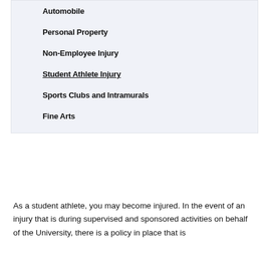Automobile
Personal Property
Non-Employee Injury
Student Athlete Injury
Sports Clubs and Intramurals
Fine Arts
As a student athlete, you may become injured. In the event of an injury that is during supervised and sponsored activities on behalf of the University, there is a policy in place that is